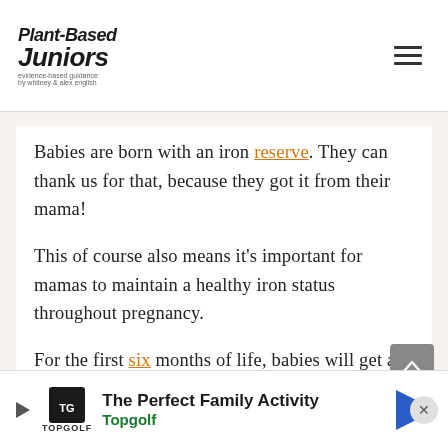Plant-Based Juniors
Babies are born with an iron reserve. They can thank us for that, because they got it from their mama!
This of course also means it's important for mamas to maintain a healthy iron status throughout pregnancy.
For the first six months of life, babies will get all of the iron they n...
[Figure (infographic): Advertisement banner for Topgolf: 'The Perfect Family Activity' with Topgolf logo and navigation arrow]
The Perfect Family Activity – Topgolf advertisement